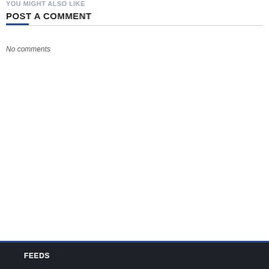YOU MIGHT ALSO LIKE
POST A COMMENT
No comments
FEEDS